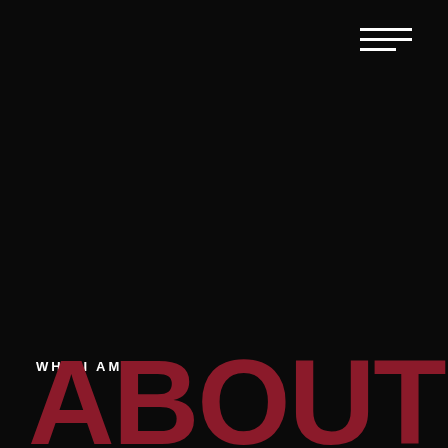[Figure (other): Hamburger menu icon — three horizontal white lines in the top-right corner, with the bottom line shorter than the top two.]
WHO I AM
ABOUT